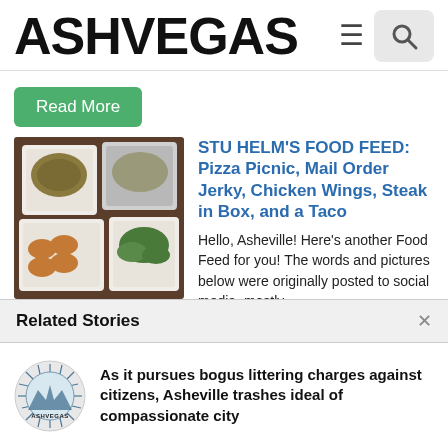ASHVEGAS
Read More
STU HELM'S FOOD FEED: Pizza Picnic, Mail Order Jerky, Chicken Wings, Steak in Box, and a Taco
Hello, Asheville! Here's another Food Feed for you! The words and pictures below were originally posted to social media, mostly
[Figure (photo): Food containers with takeout food including wings, salad, and other dishes in white styrofoam boxes on a table]
Related Stories
[Figure (logo): Ashvegas circular logo with radiating lines and text]
As it pursues bogus littering charges against citizens, Asheville trashes ideal of compassionate city